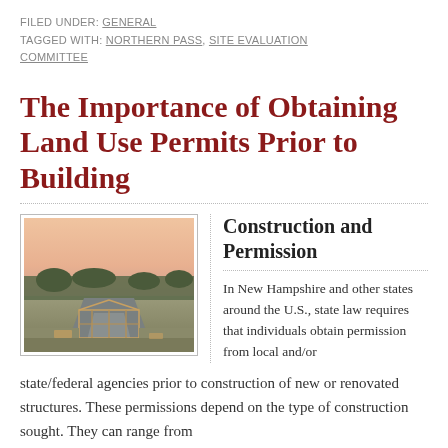FILED UNDER: GENERAL
TAGGED WITH: NORTHERN PASS, SITE EVALUATION COMMITTEE
The Importance of Obtaining Land Use Permits Prior to Building
Construction and Permission
[Figure (photo): Aerial/elevated view of a construction site at sunset, showing the wooden frame foundation of a building in progress, surrounded by a paved driveway and open fields with trees in the background under a pink sky.]
In New Hampshire and other states around the U.S., state law requires that individuals obtain permission from local and/or state/federal agencies prior to construction of new or renovated structures. These permissions depend on the type of construction sought. They can range from